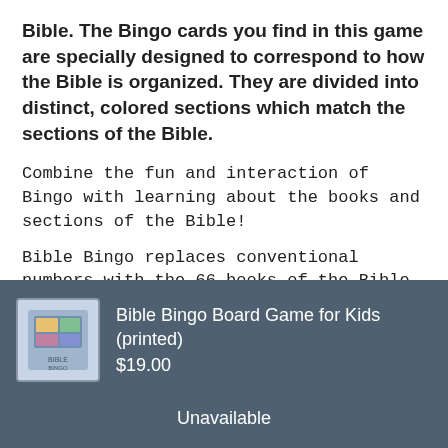Bible. The Bingo cards you find in this game are specially designed to correspond to how the Bible is organized. They are divided into distinct, colored sections which match the sections of the Bible.
Combine the fun and interaction of Bingo with learning about the books and sections of the Bible!
Bible Bingo replaces conventional numbers with the 66 books of the Bible to help players become more familiar with the Bible.
Ages 6+
[Figure (photo): Bible Bingo Board Game product image thumbnail]
Bible Bingo Board Game for Kids (printed)
$19.00
Unavailable